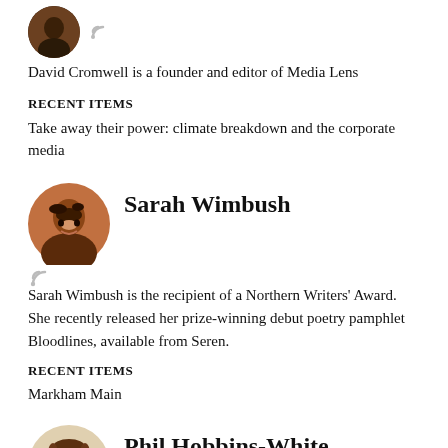[Figure (photo): Circular avatar photo of David Cromwell, partial view at top]
David Cromwell is a founder and editor of Media Lens
RECENT ITEMS
Take away their power: climate breakdown and the corporate media
[Figure (photo): Circular avatar photo of Sarah Wimbush with RSS icon below]
Sarah Wimbush
Sarah Wimbush is the recipient of a Northern Writers' Award. She recently released her prize-winning debut poetry pamphlet Bloodlines, available from Seren.
RECENT ITEMS
Markham Main
[Figure (photo): Circular avatar photo of Phil Hobbins-White with RSS icon below]
Phil Hobbins-White
Phil is a Film Studies lecturer and writer, specialising in film